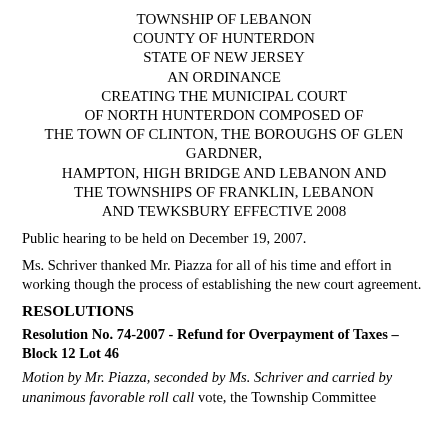TOWNSHIP OF LEBANON
COUNTY OF HUNTERDON
STATE OF NEW JERSEY
AN ORDINANCE
CREATING THE MUNICIPAL COURT OF NORTH HUNTERDON COMPOSED OF THE TOWN OF CLINTON, THE BOROUGHS OF GLEN GARDNER,
HAMPTON, HIGH BRIDGE AND LEBANON AND THE TOWNSHIPS OF FRANKLIN, LEBANON AND TEWKSBURY EFFECTIVE 2008
Public hearing to be held on December 19, 2007.
Ms. Schriver thanked Mr. Piazza for all of his time and effort in working though the process of establishing the new court agreement.
RESOLUTIONS
Resolution No. 74-2007 - Refund for Overpayment of Taxes – Block 12 Lot 46
Motion by Mr. Piazza, seconded by Ms. Schriver and carried by unanimous favorable roll call vote, the Township Committee